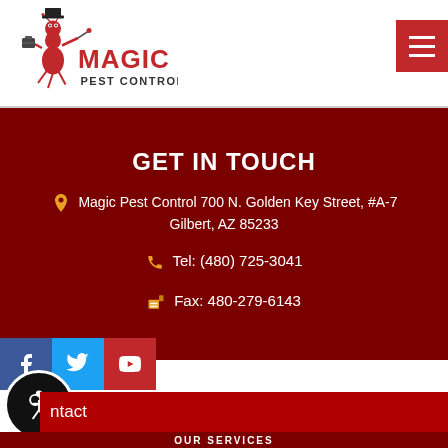[Figure (logo): Magic Pest Control logo with cartoon ant character wearing a top hat]
[Figure (other): Hamburger menu icon button (red background, three white lines)]
GET IN TOUCH
Magic Pest Control 700 N. Golden Key Street, #A-7 Gilbert, AZ 85233
Tel: (480) 725-3041
Fax: 480-279-6143
[Figure (other): Social media icons: Facebook, Twitter, YouTube]
[Figure (other): Accessibility icon button (black circle with wheelchair symbol)]
ntact
OUR SERVICES